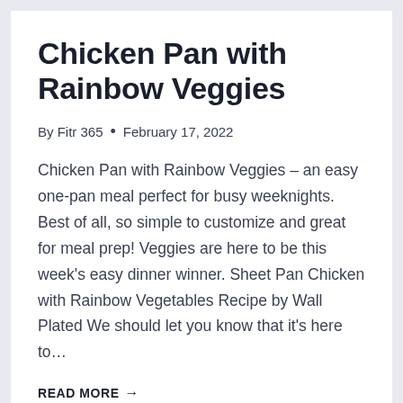Chicken Pan with Rainbow Veggies
By Fitr 365 • February 17, 2022
Chicken Pan with Rainbow Veggies – an easy one-pan meal perfect for busy weeknights. Best of all, so simple to customize and great for meal prep! Veggies are here to be this week's easy dinner winner. Sheet Pan Chicken with Rainbow Vegetables Recipe by Wall Plated We should let you know that it's here to…
READ MORE →